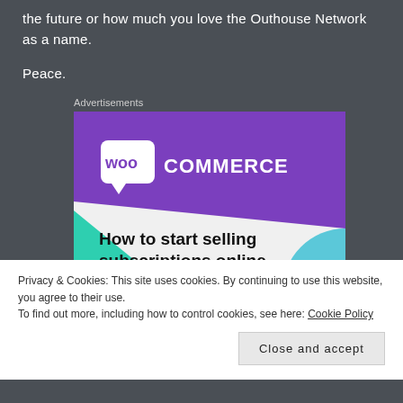the future or how much you love the Outhouse Network as a name.
Peace.
Advertisements
[Figure (illustration): WooCommerce advertisement banner showing the WooCommerce logo on a purple background with teal and blue geometric shapes, and text reading 'How to start selling subscriptions online']
Privacy & Cookies: This site uses cookies. By continuing to use this website, you agree to their use.
To find out more, including how to control cookies, see here: Cookie Policy
Close and accept